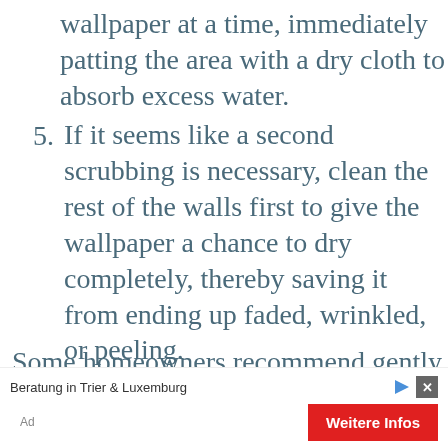wallpaper at a time, immediately patting the area with a dry cloth to absorb excess water.
5. If it seems like a second scrubbing is necessary, clean the rest of the walls first to give the wallpaper a chance to dry completely, thereby saving it from ending up faded, wrinkled, or peeling.
6. You may scrub baking soda or spray a hydrogen peroxide-based product on stubborn stains.
Some homeowners recommend gently
Beratung in Trier & Luxemburg
Ad